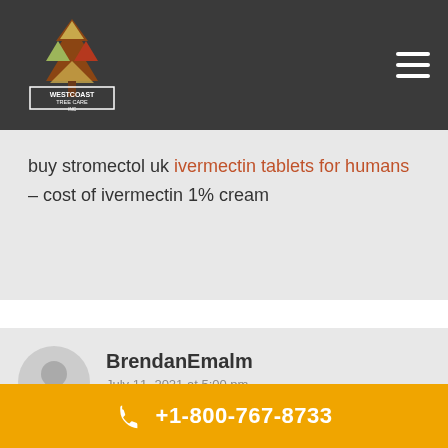Westcoast Tree Care
buy stromectol uk ivermectin tablets for humans – cost of ivermectin 1% cream
BrendanEmalm
July 11, 2021 at 5:00 pm
erectial disfunction: ed meds online without doctor prescription – ed
+1-800-767-8733